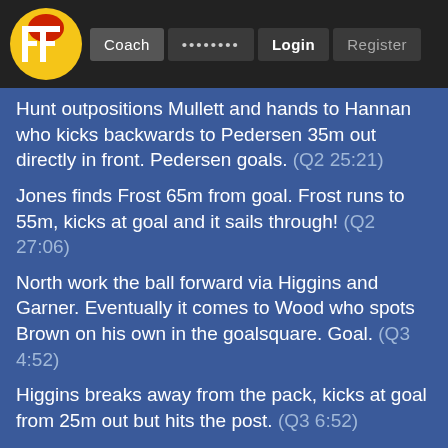FF Coach ........ Login Register
Hunt outpositions Mullett and hands to Hannan who kicks backwards to Pedersen 35m out directly in front. Pedersen goals. (Q2 25:21)
Jones finds Frost 65m from goal. Frost runs to 55m, kicks at goal and it sails through! (Q2 27:06)
North work the ball forward via Higgins and Garner. Eventually it comes to Wood who spots Brown on his own in the goalsquare. Goal. (Q3 4:52)
Higgins breaks away from the pack, kicks at goal from 25m out but hits the post. (Q3 6:52)
Tom McDonald turns the ball over badly coming out of defence with a kick that goes straight to McDonald who then kicks to the